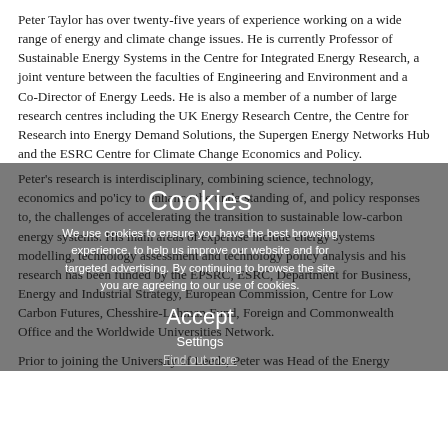Peter Taylor has over twenty-five years of experience working on a wide range of energy and climate change issues. He is currently Professor of Sustainable Energy Systems in the Centre for Integrated Energy Research, a joint venture between the faculties of Engineering and Environment and a Co-Director of Energy Leeds. He is also a member of a number of large research centres including the UK Energy Research Centre, the Centre for Research into Energy Demand Solutions, the Supergen Energy Networks Hub and the ESRC Centre for Climate Change Economics and Policy.
Peter's research is interdisciplinary, combining science, technology, economics and policy to enhance the understanding of, and policy responses to, the challenges of accelerating the transition to sustainable low-carbon energy systems. His main areas of expertise include energy systems modelling, technology assessment and technology policy analysis and his research has been funded by the EPSRC, ESRC, Department for Business, Energy and Industrial Strategy, European Commission, Centre for Low Carbon Futures, Chesshire-Lehman Fund, Foreign and Commonwealth Office and the Worldwide Universities Network.
Prior to joining the University of Leeds, Peter was Head of the Energy
[Figure (other): Cookie consent overlay showing title 'Cookies', message about cookie usage for browsing experience, website improvement and targeted advertising, with Accept button, Settings link, and Find out more link.]